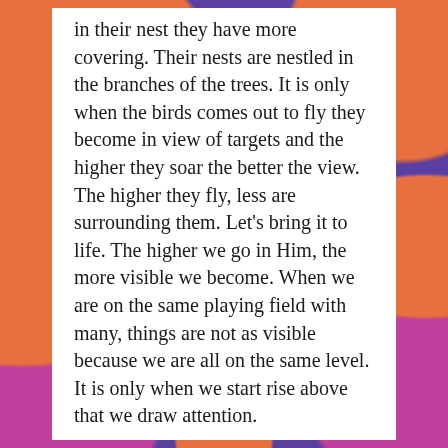in their nest they have more covering. Their nests are nestled in the branches of the trees. It is only when the birds comes out to fly they become in view of targets and the higher they soar the better the view. The higher they fly, less are surrounding them. Let's bring it to life. The higher we go in Him, the more visible we become. When we are on the same playing field with many, things are not as visible because we are all on the same level. It is only when we start rise above that we draw attention.
As long as we are on the same playing field as most, we are safe. It's only when we start moving above ground that the attacks are launched. In a real war, the enemy can't see until there is movement. They can't see until we are in view.